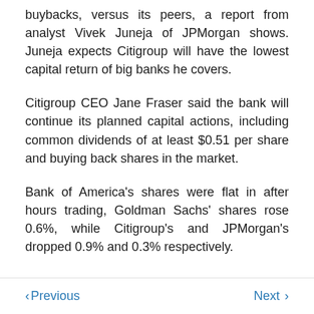buybacks, versus its peers, a report from analyst Vivek Juneja of JPMorgan shows. Juneja expects Citigroup will have the lowest capital return of big banks he covers.
Citigroup CEO Jane Fraser said the bank will continue its planned capital actions, including common dividends of at least $0.51 per share and buying back shares in the market.
Bank of America's shares were flat in after hours trading, Goldman Sachs' shares rose 0.6%, while Citigroup's and JPMorgan's dropped 0.9% and 0.3% respectively.
< Previous   Next >